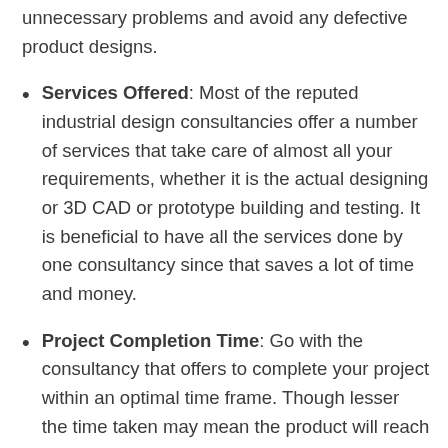unnecessary problems and avoid any defective product designs.
Services Offered: Most of the reputed industrial design consultancies offer a number of services that take care of almost all your requirements, whether it is the actual designing or 3D CAD or prototype building and testing. It is beneficial to have all the services done by one consultancy since that saves a lot of time and money.
Project Completion Time: Go with the consultancy that offers to complete your project within an optimal time frame. Though lesser the time taken may mean the product will reach the marketing stage more quickly, it's not necessarily true. Many firms may mention a timeline that is not feasible just to get your project. Ask each design